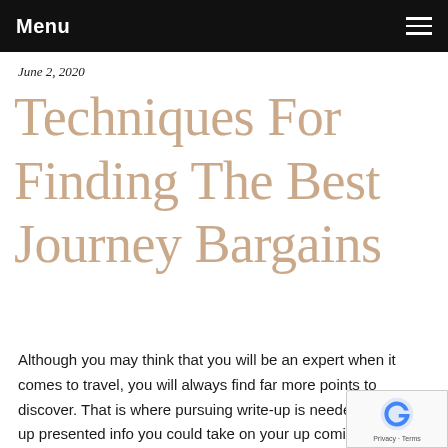Menu
June 2, 2020
Techniques For Finding The Best Journey Bargains
Although you may think that you will be an expert when it comes to travel, you will always find far more points to discover. That is where pursuing write-up is needed. You end up presented info you could take on your up coming